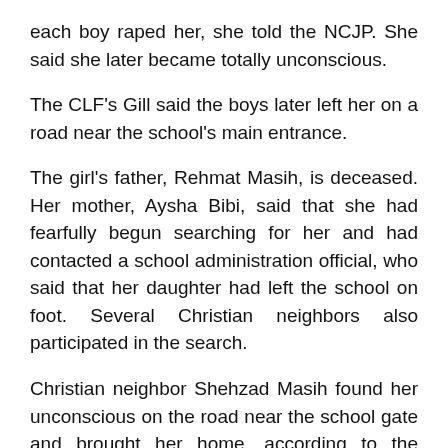each boy raped her, she told the NCJP. She said she later became totally unconscious.
The CLF's Gill said the boys later left her on a road near the school's main entrance.
The girl's father, Rehmat Masih, is deceased. Her mother, Aysha Bibi, said that she had fearfully begun searching for her and had contacted a school administration official, who said that her daughter had left the school on foot. Several Christian neighbors also participated in the search.
Christian neighbor Shehzad Masih found her unconscious on the road near the school gate and brought her home, according to the NCJP's Jacob. As the 14-year-old regained consciousness, her mother and others brought her to the Millat Park Police Station and filed an